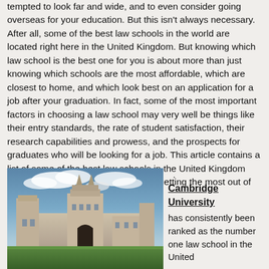tempted to look far and wide, and to even consider going overseas for your education. But this isn't always necessary. After all, some of the best law schools in the world are located right here in the United Kingdom. But knowing which law school is the best one for you is about more than just knowing which schools are the most affordable, which are closest to home, and which look best on an application for a job after your graduation. In fact, some of the most important factors in choosing a law school may very well be things like their entry standards, the rate of student satisfaction, their research capabilities and prowess, and the prospects for graduates who will be looking for a job. This article contains a list of some of the best law schools in the United Kingdom and what you can expect in terms of getting the most out of your money.
[Figure (photo): Photograph of Cambridge University historic stone college buildings with green lawn in foreground and cloudy sky above]
Cambridge University has consistently been ranked as the number one law school in the United